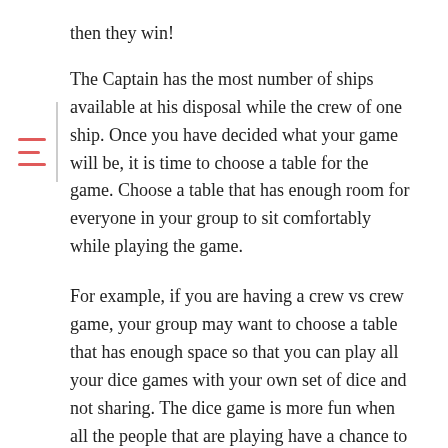then they win!
The Captain has the most number of ships available at his disposal while the crew of one ship. Once you have decided what your game will be, it is time to choose a table for the game. Choose a table that has enough room for everyone in your group to sit comfortably while playing the game.
For example, if you are having a crew vs crew game, your group may want to choose a table that has enough space so that you can play all your dice games with your own set of dice and not sharing. The dice game is more fun when all the people that are playing have a chance to win, so it is important to pick a table that provides that chance.
Dice games for party are great because they can be